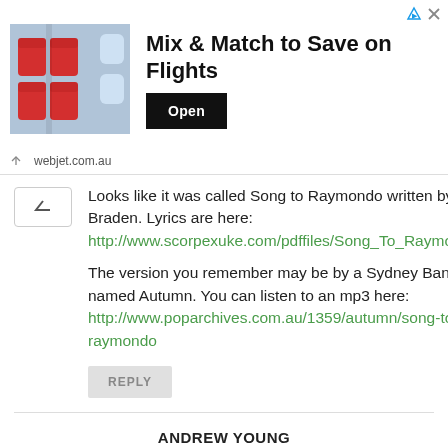[Figure (screenshot): Advertisement banner for webjet.com.au showing airplane seats with text 'Mix & Match to Save on Flights' and an 'Open' button]
Looks like it was called Song to Raymondo written by John Braden. Lyrics are here: http://www.scorpexuke.com/pdffiles/Song_To_Raymondo.pdf
The version you remember may be by a Sydney Band named Autumn. You can listen to an mp3 here: http://www.poparchives.com.au/1359/autumn/song-to-raymondo
REPLY
ANDREW YOUNG
April 2, 2021, 8:44 am